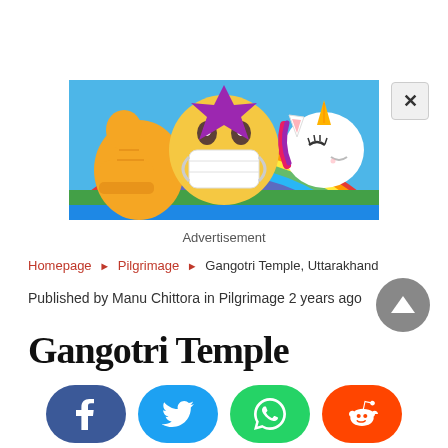[Figure (illustration): Advertisement banner image showing colorful emojis with a mask emoji in the center on a rainbow background, with a thumbs up emoji on the left and a unicorn on the right. A close (X) button is in the top right corner.]
Advertisement
Homepage ▶ Pilgrimage ▶ Gangotri Temple, Uttarakhand
Published by Manu Chittora in Pilgrimage 2 years ago
Gangotri Temple